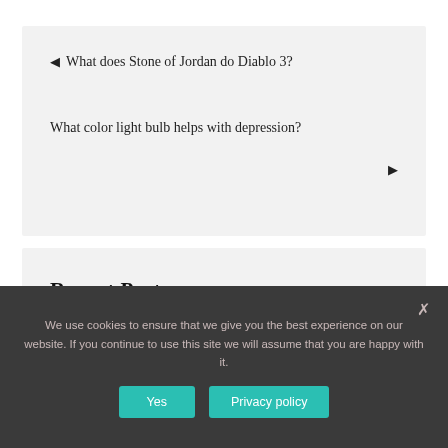◄ What does Stone of Jordan do Diablo 3?
What color light bulb helps with depression? ►
Recent Posts
We use cookies to ensure that we give you the best experience on our website. If you continue to use this site we will assume that you are happy with it.